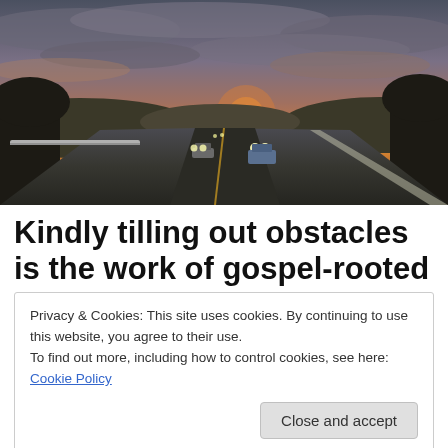[Figure (photo): A highway road scene at sunset/dusk. Cars with headlights on driving along a multi-lane road curving to the right. The sky shows a dramatic sunset with orange and pink hues near the horizon, dark clouds above. Hills and trees visible on the sides. A guardrail runs along the left side of the road.]
Kindly tilling out obstacles is the work of gospel-rooted
Privacy & Cookies: This site uses cookies. By continuing to use this website, you agree to their use.
To find out more, including how to control cookies, see here: Cookie Policy

Close and accept
discussion this weekend with a group of women from